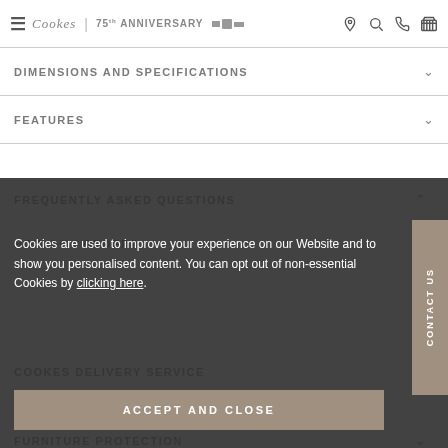Cookes 75th Anniversary
DIMENSIONS AND SPECIFICATIONS
FEATURES
FREQUENTLY ASKED QUESTIONS
HOW DO I ORDER?
COOKES DELIVERY SERVICE
FURNITURE PROTECTION
Cookies are used to improve your experience on our Website and to show you personalised content. You can opt out of non-essential Cookies by clicking here.
ACCEPT AND CLOSE